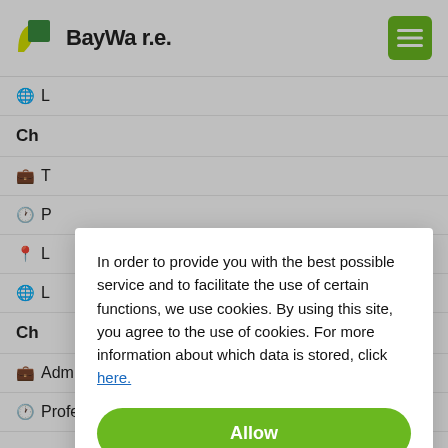[Figure (logo): BayWa r.e. logo with green and yellow leaf/square icon]
BayWa r.e.
In order to provide you with the best possible service and to facilitate the use of certain functions, we use cookies. By using this site, you agree to the use of cookies. For more information about which data is stored, click here.
Allow
Customize cookies
Decline
Administration
Professionals